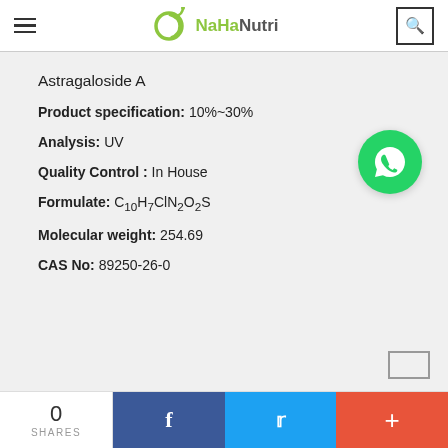NaHaNutri
Astragaloside A
Product specification: 10%~30%
Analysis: UV
Quality Control : In House
Formulate: C10H7ClN2O2S
Molecular weight: 254.69
CAS No: 89250-26-0
[Figure (logo): WhatsApp contact button, green circle with phone/chat icon]
0 SHARES | Facebook | Twitter | +